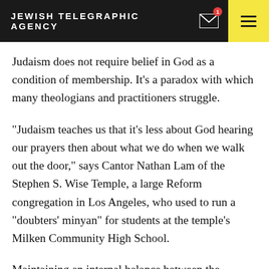JEWISH TELEGRAPHIC AGENCY
Judaism does not require belief in God as a condition of membership. It’s a paradox with which many theologians and practitioners struggle.
“Judaism teaches us that it’s less about God hearing our prayers then about what we do when we walk out the door,” says Cantor Nathan Lam of the Stephen S. Wise Temple, a large Reform congregation in Los Angeles, who used to run a “doubters’ minyan” for students at the temple’s Milken Community High School.
Maintaining an internal balance between the demands of faith and intellect is part of being a modern Jew, he